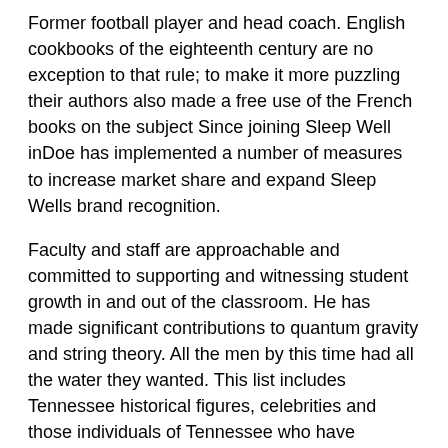Former football player and head coach. English cookbooks of the eighteenth century are no exception to that rule; to make it more puzzling their authors also made a free use of the French books on the subject Since joining Sleep Well inDoe has implemented a number of measures to increase market share and expand Sleep Wells brand recognition.
Faculty and staff are approachable and committed to supporting and witnessing student growth in and out of the classroom. He has made significant contributions to quantum gravity and string theory. All the men by this time had all the water they wanted. This list includes Tennessee historical figures, celebrities and those individuals of Tennessee who have influenced the lives of others.
This was an additional fund for buying books. It is really something to see the amount of damage that 5, artillery shells in 36 hours can do. Lester Flatt - Bluegrass musician; born in Overton County. Pop singer and song…